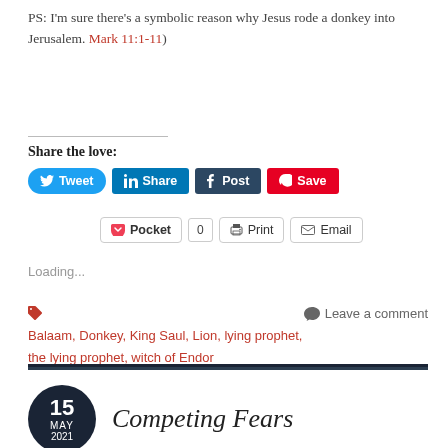PS: I'm sure there's a symbolic reason why Jesus rode a donkey into Jerusalem. Mark 11:1-11)
Share the love:
[Figure (infographic): Social share buttons: Tweet (Twitter/blue), Share (LinkedIn/blue), Post (Tumblr/dark), Save (Pinterest/red), Pocket with count 0, Print, Email]
Loading...
Balaam, Donkey, King Saul, Lion, lying prophet, the lying prophet, witch of Endor   Leave a comment
Competing Fears
15 MAY 2021